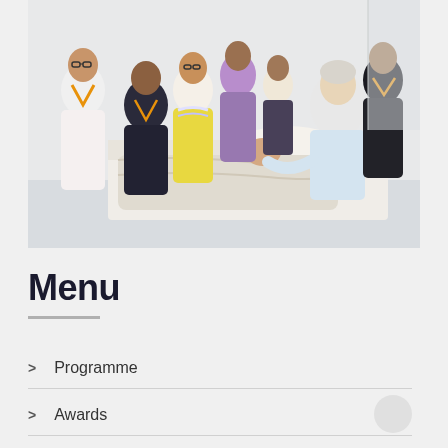[Figure (photo): A medical professional with white hair leans over a child patient lying in a hospital bed covered with a blanket, examining or treating the child. Several observers wearing orange lanyards/badges stand around watching the clinical demonstration in what appears to be a medical training or educational setting.]
Menu
Programme
Awards